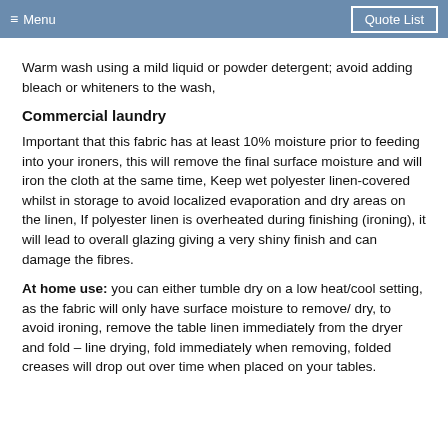≡ Menu   Quote List
Warm wash using a mild liquid or powder detergent; avoid adding bleach or whiteners to the wash,
Commercial laundry
Important that this fabric has at least 10% moisture prior to feeding into your ironers, this will remove the final surface moisture and will iron the cloth at the same time, Keep wet polyester linen-covered whilst in storage to avoid localized evaporation and dry areas on the linen, If polyester linen is overheated during finishing (ironing), it will lead to overall glazing giving a very shiny finish and can damage the fibres.
At home use: you can either tumble dry on a low heat/cool setting, as the fabric will only have surface moisture to remove/ dry, to avoid ironing, remove the table linen immediately from the dryer and fold – line drying, fold immediately when removing, folded creases will drop out over time when placed on your tables.